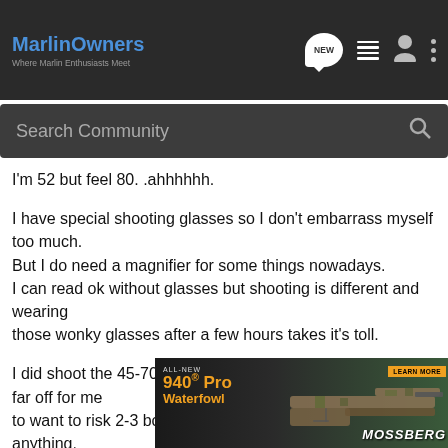[Figure (screenshot): MarlinOwners forum website header with logo, NEW chat badge, list icon, user icon, and more options icon on dark background]
[Figure (screenshot): Search Community search bar on dark grey background]
I'm 52 but feel 80. .ahhhhhh.
I have special shooting glasses so I don't embarrass myself too much.
But I do need a magnifier for some things nowadays.
I can read ok without glasses but shooting is different and wearing
those wonky glasses after a few hours takes it's toll.
I did shoot the 45-70 today but the iron sights are just too far off for me
to want to risk 2-3 boxes of factory ammo trying to hit anything.
I was too far off in practice so I need bench time to get the ring sighted
in. Then
I was o
[Figure (screenshot): Mossberg 940 Pro Waterfowl advertisement banner showing a camouflage shotgun with text ALL-NEW 940 Pro Waterfowl, LEARN MORE button, and MOSSBERG logo]